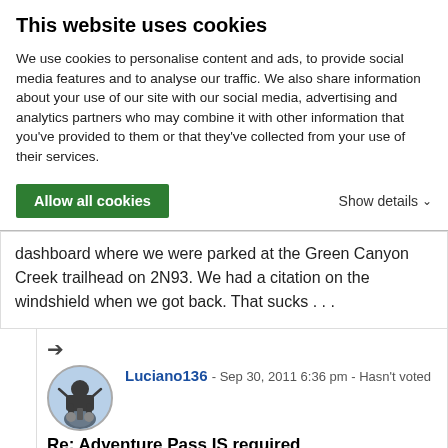This website uses cookies
We use cookies to personalise content and ads, to provide social media features and to analyse our traffic. We also share information about your use of our site with our social media, advertising and analytics partners who may combine it with other information that you've provided to them or that they've collected from your use of their services.
Allow all cookies | Show details
dashboard where we were parked at the Green Canyon Creek trailhead on 2N93. We had a citation on the windshield when we got back. That sucks . . .
Luciano136 - Sep 30, 2011 6:36 pm - Hasn't voted
Re: Adventure Pass IS required
Sorry to hear. If you send in your Pass number, you don't have to pay it though. Or if you don't have a pass, well, you're probably still fine if you don't pay it :).